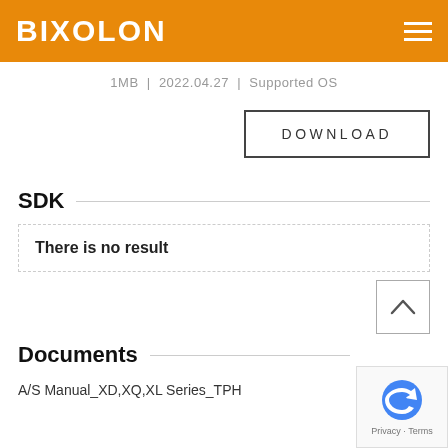BIXOLON
1MB  |  2022.04.27  |  Supported OS
DOWNLOAD
SDK
There is no result
Documents
A/S Manual_XD,XQ,XL Series_TPH